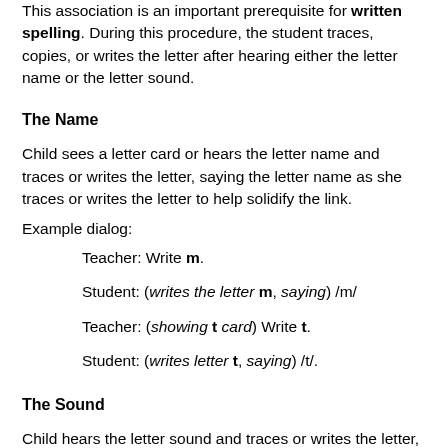This association is an important prerequisite for written spelling. During this procedure, the student traces, copies, or writes the letter after hearing either the letter name or the letter sound.
The Name
Child sees a letter card or hears the letter name and traces or writes the letter, saying the letter name as she traces or writes the letter to help solidify the link.
Example dialog:
Teacher: Write m.
Student: (writes the letter m, saying) /m/
Teacher: (showing t card) Write t.
Student: (writes letter t, saying) /t/.
The Sound
Child hears the letter sound and traces or writes the letter,